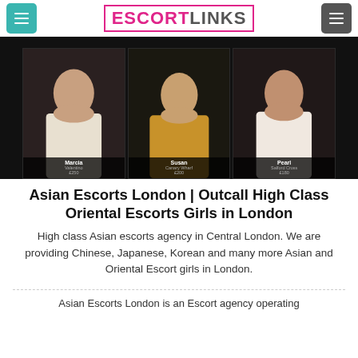ESCORTLINKS
[Figure (photo): Screenshot of an escort agency website showing three profile cards with photos of women named Marcia (Valenino, £250), Susan (Canary Wharf, £200), and Pearl (Salford Cross, £180) against a dark background.]
Asian Escorts London | Outcall High Class Oriental Escorts Girls in London
High class Asian escorts agency in Central London. We are providing Chinese, Japanese, Korean and many more Asian and Oriental Escort girls in London.
Asian Escorts London is an Escort agency operating